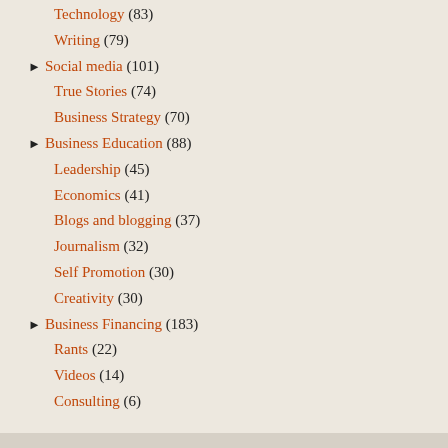Technology (83)
Writing (79)
► Social media (101)
True Stories (74)
Business Strategy (70)
► Business Education (88)
Leadership (45)
Economics (41)
Blogs and blogging (37)
Journalism (32)
Self Promotion (30)
Creativity (30)
► Business Financing (183)
Rants (22)
Videos (14)
Consulting (6)
Recent posts on bplans.com
How to Handle Business Rejection by Investors in 10 Steps